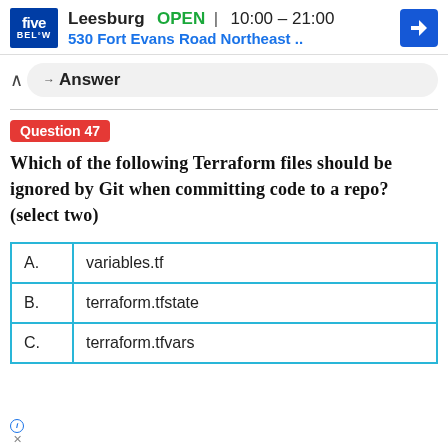[Figure (screenshot): Five Below ad banner showing Leesburg store, OPEN 10:00-21:00, 530 Fort Evans Road Northeast, with navigation icon]
Answer
Question 47
Which of the following Terraform files should be ignored by Git when committing code to a repo? (select two)
|  |  |
| --- | --- |
| A. | variables.tf |
| B. | terraform.tfstate |
| C. | terraform.tfvars |